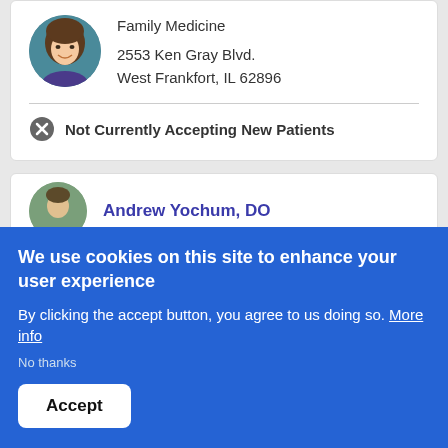[Figure (photo): Circular profile photo of a female doctor with brown hair, smiling, wearing a purple top, against a teal background]
Family Medicine
2553 Ken Gray Blvd.
West Frankfort, IL 62896
Not Currently Accepting New Patients
[Figure (photo): Partial circular profile photo of Andrew Yochum, DO]
Andrew Yochum, DO
We use cookies on this site to enhance your user experience
By clicking the accept button, you agree to us doing so. More info
No thanks
Accept